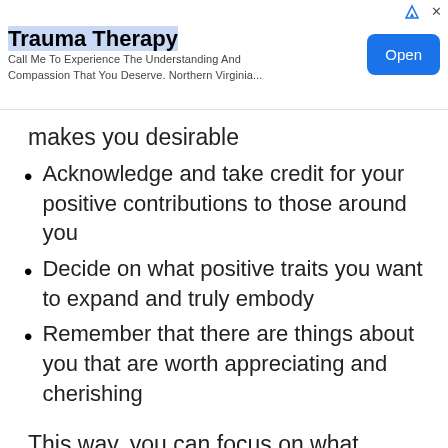[Figure (other): Advertisement banner for Trauma Therapy with title, subtitle text, and Open button]
makes you desirable
Acknowledge and take credit for your positive contributions to those around you
Decide on what positive traits you want to expand and truly embody
Remember that there are things about you that are worth appreciating and cherishing
This way, you can focus on what makes you unique and how you can continue to